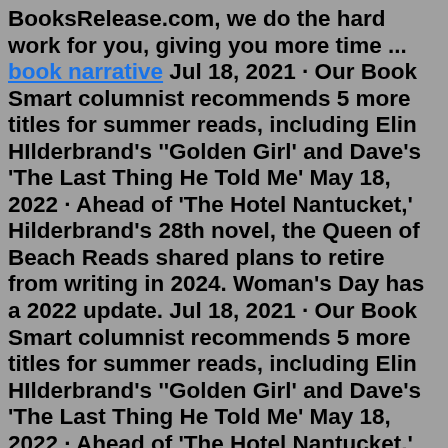BooksRelease.com, we do the hard work for you, giving you more time ... book narrative Jul 18, 2021 · Our Book Smart columnist recommends 5 more titles for summer reads, including Elin HIlderbrand's ''Golden Girl' and Dave's 'The Last Thing He Told Me' May 18, 2022 · Ahead of 'The Hotel Nantucket,' Hilderbrand's 28th novel, the Queen of Beach Reads shared plans to retire from writing in 2024. Woman's Day has a 2022 update. Jul 18, 2021 · Our Book Smart columnist recommends 5 more titles for summer reads, including Elin HIlderbrand's ''Golden Girl' and Dave's 'The Last Thing He Told Me' May 18, 2022 · Ahead of 'The Hotel Nantucket,' Hilderbrand's 28th novel, the Queen of Beach Reads shared plans to retire from writing in 2024. Woman's Day has a 2022 update. Elin Hilderbrand's New Book 2022 The Hotel Nantucket Instant #1 New York Times Bestseller Best for fans of The Blue Bistro and the tv show Below Deck The Hotel Nantucket is about the Summer in which a haunted old hotel is restored to the epitome of luxury and the staff who have to get it, ...and #5...